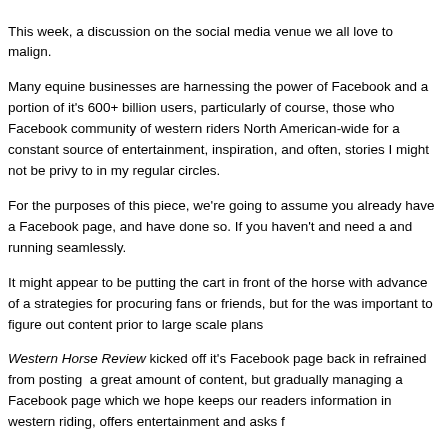This week, a discussion on the social media venue we all love to malign.
Many equine businesses are harnessing the power of Facebook and a portion of it's 600+ billion users, particularly of course, those who Facebook community of western riders North American-wide for a constant source of entertainment, inspiration, and often, stories I might not be privy to in my regular circles.
For the purposes of this piece, we're going to assume you already have a Facebook page, and have done so. If you haven't and need a and running seamlessly.
It might appear to be putting the cart in front of the horse with advance of a strategies for procuring fans or friends, but for the was important to figure out content prior to large scale plans
Western Horse Review kicked off it's Facebook page back in refrained from posting  a great amount of content, but gradually managing a Facebook page which we hope keeps our readers information in western riding, offers entertainment and asks f